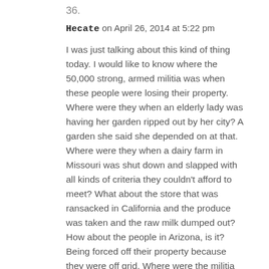36.
Hecate on April 26, 2014 at 5:22 pm
I was just talking about this kind of thing today. I would like to know where the 50,000 strong, armed militia was when these people were losing their property. Where were they when an elderly lady was having her garden ripped out by her city? A garden she said she depended on at that. Where were they when a dairy farm in Missouri was shut down and slapped with all kinds of criteria they couldn't afford to meet? What about the store that was ransacked in California and the produce was taken and the raw milk dumped out? How about the people in Arizona, is it? Being forced off their property because they were off grid. Where were the militia people then????
37.
posseecom on April 26, 2014 at 5:24 pm
Thankyou, Being...